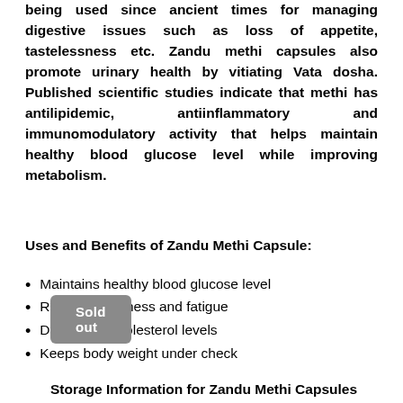being used since ancient times for managing digestive issues such as loss of appetite, tastelessness etc. Zandu methi capsules also promote urinary health by vitiating Vata dosha. Published scientific studies indicate that methi has antilipidemic, antiinflammatory and immunomodulatory activity that helps maintain healthy blood glucose level while improving metabolism.
Uses and Benefits of Zandu Methi Capsule:
Maintains healthy blood glucose level
Reduces tiredness and fatigue
Decreases cholesterol levels
Keeps body weight under check
Sold out
Storage Information for Zandu Methi Capsules